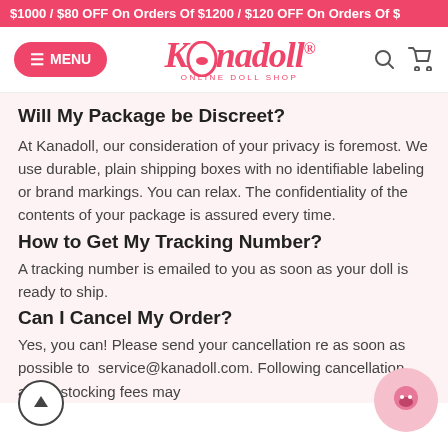$1000 / $80 OFF On Orders Of $1200 / $120 OFF On Orders Of $
[Figure (logo): Kanadoll online doll shop logo with pink cursive text and navigation bar including MENU button, search and cart icons]
Will My Package be Discreet?
At Kanadoll, our consideration of your privacy is foremost. We use durable, plain shipping boxes with no identifiable labeling or brand markings. You can relax. The confidentiality of the contents of your package is assured every time.
How to Get My Tracking Number?
A tracking number is emailed to you as soon as your doll is ready to ship.
Can I Cancel My Order?
Yes, you can! Please send your cancellation re as soon as possible to  service@kanadoll.com. Following cancellation and restocking fees may